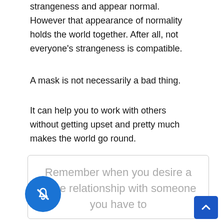strangeness and appear normal. However that appearance of normality holds the world together. After all, not everyone's strangeness is compatible.
A mask is not necessarily a bad thing.
It can help you to work with others without getting upset and pretty much makes the world go round.
Remember when you desire a close relationship with someone you have to